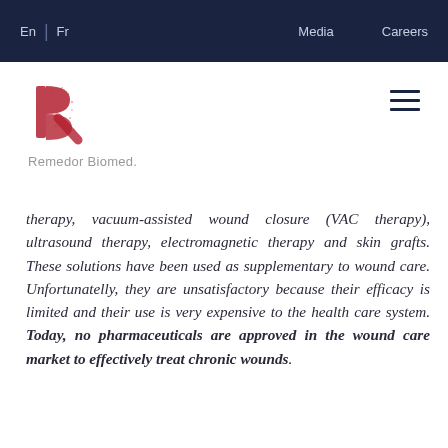En | Fr   Media   Careers
[Figure (logo): Remedor Biomed logo — stylized red BR monogram with dotted texture, company name below]
therapy, vacuum-assisted wound closure (VAC therapy), ultrasound therapy, electromagnetic therapy and skin grafts. These solutions have been used as supplementary to wound care. Unfortunatelly, they are unsatisfactory because their efficacy is limited and their use is very expensive to the health care system. Today, no pharmaceuticals are approved in the wound care market to effectively treat chronic wounds.